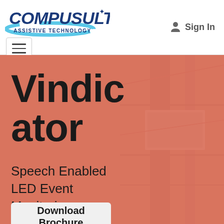[Figure (logo): Compusult Assistive Technology logo — bold dark blue text 'COMPUSULT' with light blue swoosh, subtitle 'ASSISTIVE TECHNOLOGY']
Sign In
[Figure (other): Hamburger menu button with three horizontal lines inside a rectangle border]
Vindicator
Speech Enabled LED Event Monitoring
Download Brochure